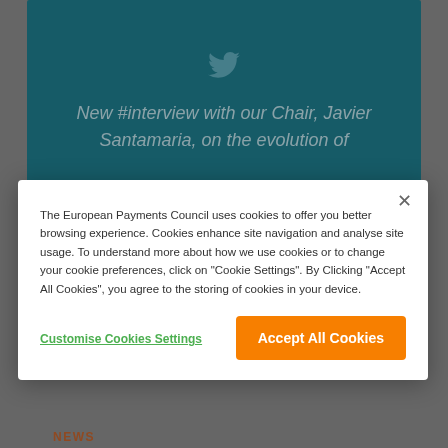[Figure (screenshot): Teal background Twitter card showing a tweet about an interview with Chair Javier Santamaria on the evolution of something]
New #interview with our Chair, Javier Santamaria, on the evolution of
The European Payments Council uses cookies to offer you better browsing experience. Cookies enhance site navigation and analyse site usage. To understand more about how we use cookies or to change your cookie preferences, click on "Cookie Settings". By Clicking "Accept All Cookies", you agree to the storing of cookies in your device.
Customise Cookies Settings
Accept All Cookies
NEWS